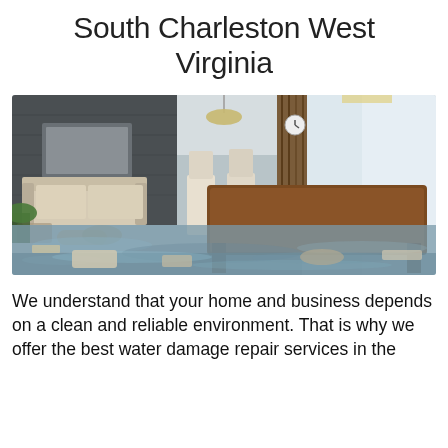South Charleston West Virginia
[Figure (photo): Flooded interior of a home showing a living room and dining area with water covering the floor, furniture floating and submerged, including sofas, chairs, and a wooden dining table, with modern interior design visible in the background.]
We understand that your home and business depends on a clean and reliable environment. That is why we offer the best water damage repair services in the